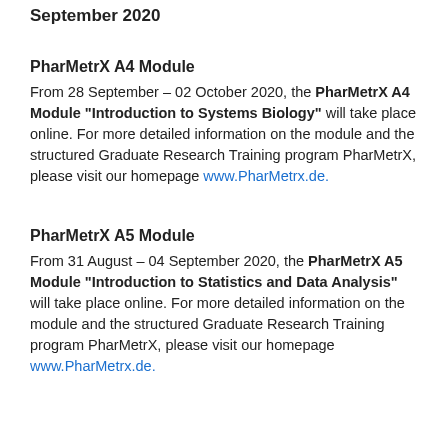September 2020
PharMetrX A4 Module
From 28 September – 02 October 2020, the PharMetrX A4 Module "Introduction to Systems Biology" will take place online. For more detailed information on the module and the structured Graduate Research Training program PharMetrX, please visit our homepage www.PharMetrx.de.
PharMetrX A5 Module
From 31 August – 04 September 2020, the PharMetrX A5 Module "Introduction to Statistics and Data Analysis" will take place online. For more detailed information on the module and the structured Graduate Research Training program PharMetrX, please visit our homepage www.PharMetrx.de.